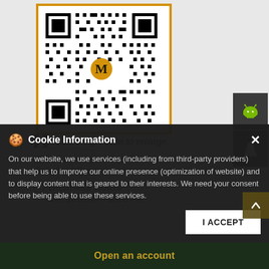[Figure (other): QR code with gold/orange border and letter M logo in center, on a light gray background]
Click on QR code to enlarge.
Tell us about your experience.
Scan this QR code to discover more with us.
Business Hours
Mon : 10:00 AM - 06:00 PM
Cookie Information
On our website, we use services (including from third-party providers) that help us to improve our online presence (optimization of website) and to display content that is geared to their interests. We need your consent before being able to use these services.
I ACCEPT
Open an account